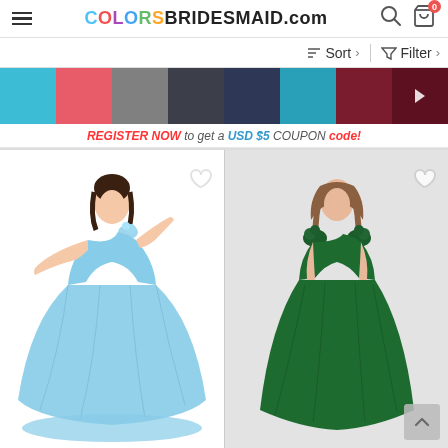COLORSBRIDESMAID.com
Sort   Filter
[Figure (infographic): Color swatches strip: sky blue, coral/salmon, gray, dark charcoal, navy blue, teal, dark red/maroon, dark maroon with right arrow]
REGISTER NOW to get a USD $5 COUPON code!
[Figure (photo): Woman wearing a sky blue one-shoulder floor-length bridesmaid gown with floral shoulder detail]
[Figure (photo): Woman wearing a dark green cap-sleeve floor-length bridesmaid gown with floral cap sleeves]